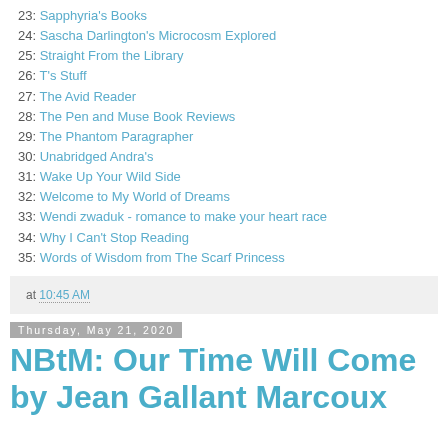23: Sapphyria's Books
24: Sascha Darlington's Microcosm Explored
25: Straight From the Library
26: T's Stuff
27: The Avid Reader
28: The Pen and Muse Book Reviews
29: The Phantom Paragrapher
30: Unabridged Andra's
31: Wake Up Your Wild Side
32: Welcome to My World of Dreams
33: Wendi zwaduk - romance to make your heart race
34: Why I Can't Stop Reading
35: Words of Wisdom from The Scarf Princess
at 10:45 AM
Thursday, May 21, 2020
NBtM: Our Time Will Come by Jean Gallant Marcoux